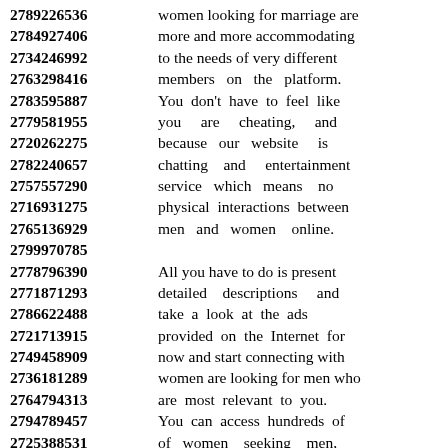2789226536 women looking for marriage are 2784927406 more and more accommodating 2734246992 to the needs of very different 2763298416 members on the platform. 2783595887 You don't have to feel like 2779581955 you are cheating, and 2720262275 because our website is 2782240657 chatting and entertainment 2757557290 service which means no 2716931275 physical interactions between 2765136929 men and women online. 2799970785 2778796390 All you have to do is present 2771871293 detailed descriptions and 2786622488 take a look at the ads 2721713915 provided on the Internet for 2749458909 now and start connecting with 2736181289 women are looking for men who 2764794313 are most relevant to you. 2794789457 You can access hundreds of 2725388531 of women seeking men, 2716302176 chat with them for free 2767150271 to meet new friends with 2750831765 similar interests and experiences. 2742747855 2752140705 (truncated)